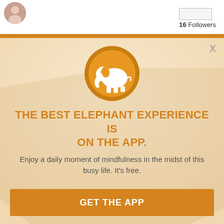[Figure (photo): Profile picture in top left corner]
16 Followers
[Figure (logo): Elephant app logo: white elephant silhouette on orange circle with darker orange outer ring]
THE BEST ELEPHANT EXPERIENCE IS ON THE APP.
Enjoy a daily moment of mindfulness in the midst of this busy life. It's free.
GET THE APP
OPEN IN APP